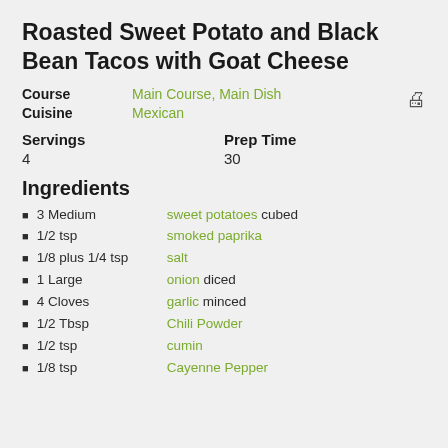Roasted Sweet Potato and Black Bean Tacos with Goat Cheese
Course: Main Course, Main Dish | Cuisine: Mexican
Servings: 4 | Prep Time: 30
Ingredients
3 Medium sweet potatoes cubed
1/2 tsp smoked paprika
1/8 plus 1/4 tsp salt
1 Large onion diced
4 Cloves garlic minced
1/2 Tbsp Chili Powder
1/2 tsp cumin
1/8 tsp Cayenne Pepper